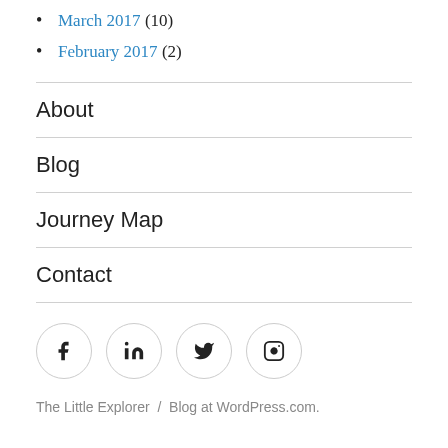March 2017 (10)
February 2017 (2)
About
Blog
Journey Map
Contact
[Figure (other): Social media icons row: Facebook, LinkedIn, Twitter, Instagram — each in a circular bordered button]
The Little Explorer / Blog at WordPress.com.